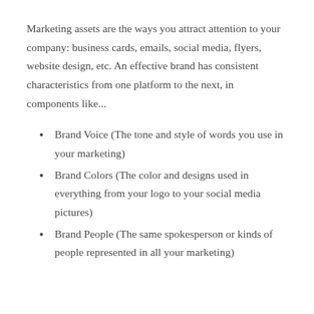Marketing assets are the ways you attract attention to your company: business cards, emails, social media, flyers, website design, etc. An effective brand has consistent characteristics from one platform to the next, in components like...
Brand Voice (The tone and style of words you use in your marketing)
Brand Colors (The color and designs used in everything from your logo to your social media pictures)
Brand People (The same spokesperson or kinds of people represented in all your marketing)